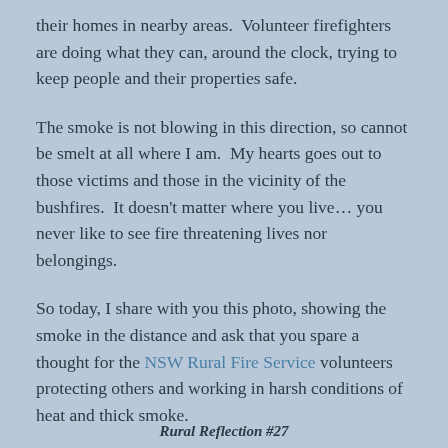their homes in nearby areas.  Volunteer firefighters are doing what they can, around the clock, trying to keep people and their properties safe.
The smoke is not blowing in this direction, so cannot be smelt at all where I am.  My hearts goes out to those victims and those in the vicinity of the bushfires.  It doesn't matter where you live… you never like to see fire threatening lives nor belongings.
So today, I share with you this photo, showing the smoke in the distance and ask that you spare a thought for the NSW Rural Fire Service volunteers protecting others and working in harsh conditions of heat and thick smoke.
Rural Reflection #27